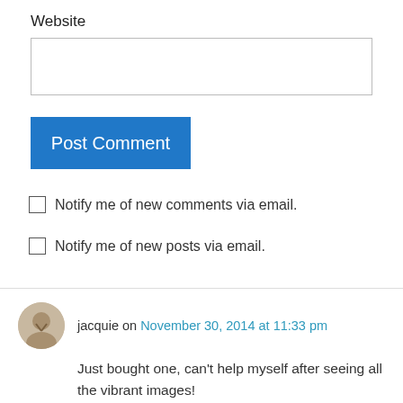Website
[Figure (other): Text input field for website URL]
[Figure (other): Post Comment button (blue)]
Notify me of new comments via email.
Notify me of new posts via email.
jacquie on November 30, 2014 at 11:33 pm
Just bought one, can't help myself after seeing all the vibrant images!
Thank you for the thorough review.
Like